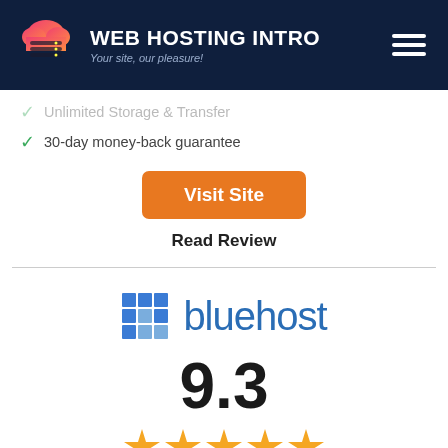WEB HOSTING INTRO — Your site, our pleasure!
Unlimited Storage & Transfer
30-day money-back guarantee
Visit Site
Read Review
[Figure (logo): Bluehost logo with blue grid icon and blue text]
9.3